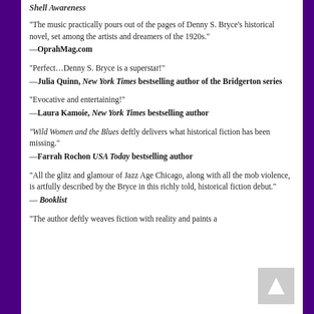Shell Awareness
“The music practically pours out of the pages of Denny S. Bryce’s historical novel, set among the artists and dreamers of the 1920s.”
—OprahMag.com
“Perfect…Denny S. Bryce is a superstar!”
—Julia Quinn, New York Times bestselling author of the Bridgerton series
“Evocative and entertaining!”
—Laura Kamoie, New York Times bestselling author
“Wild Women and the Blues deftly delivers what historical fiction has been missing.”
—Farrah Rochon USA Today bestselling author
“All the glitz and glamour of Jazz Age Chicago, along with all the mob violence, is artfully described by the Bryce in this richly told, historical fiction debut.”
—Booklist
“The author deftly weaves fiction with reality and paints a